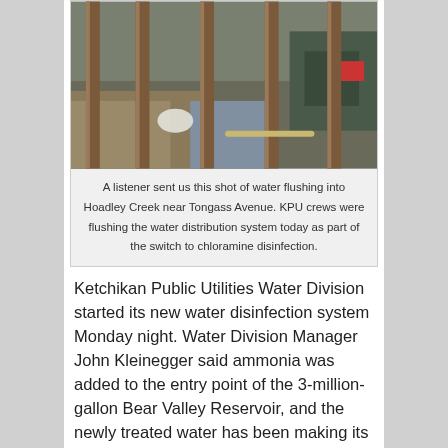[Figure (photo): Photo of water flushing into Hoadley Creek near Tongass Avenue, viewed through wooden fence posts. A vehicle is visible in the background on the right.]
A listener sent us this shot of water flushing into Hoadley Creek near Tongass Avenue. KPU crews were flushing the water distribution system today as part of the switch to chloramine disinfection.
Ketchikan Public Utilities Water Division started its new water disinfection system Monday night. Water Division Manager John Kleinegger said ammonia was added to the entry point of the 3-million-gallon Bear Valley Reservoir, and the newly treated water has been making its way through.
Kleinegger said they took samples for